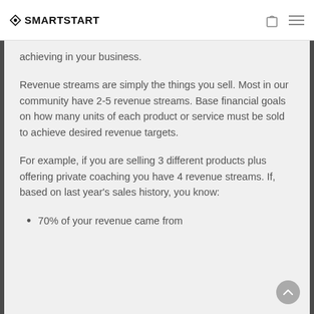SMARTSTART
achieving in your business.
Revenue streams are simply the things you sell. Most in our community have 2-5 revenue streams. Base financial goals on how many units of each product or service must be sold to achieve desired revenue targets.
For example, if you are selling 3 different products plus offering private coaching you have 4 revenue streams. If, based on last year’s sales history, you know:
70% of your revenue came from